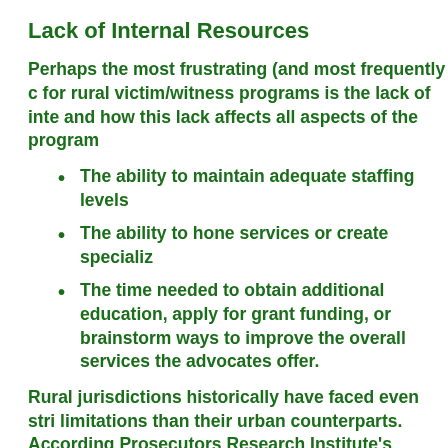Lack of Internal Resources
Perhaps the most frustrating (and most frequently cited) for rural victim/witness programs is the lack of internal resources and how this lack affects all aspects of the program's work:
The ability to maintain adequate staffing levels;
The ability to hone services or create specialized services;
The time needed to obtain additional education, apply for grant funding, or brainstorm ways to improve the overall services the advocates offer.
Rural jurisdictions historically have faced even stricter budget limitations than their urban counterparts. According to the American Prosecutors Research Institute's (APRI's) 2001 survey of prosecutors' offices nationwide, the average budget for small offices was $706,000, and for part-time offices it was only $— significantly less than the average budget for all offices of nearly $2 million (DeFrances 2001). Only 9.5 percent of part-time offices and percent of small offices included any social services